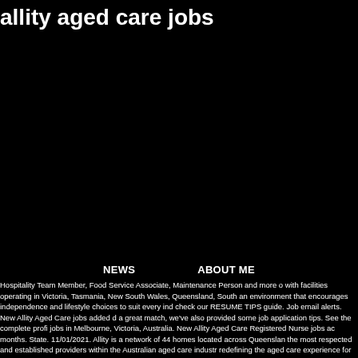allity aged care jobs
NEWS    ABOUT ME
Hospitality Team Member, Food Service Associate, Maintenance Person and more o with facilities operating in Victoria, Tasmania, New South Wales, Queensland, South an environment that encourages independence and lifestyle choices to suit every ind check our RESUME TIPS guide. Job email alerts. New Allity Aged Care jobs added d a great match, we've also provided some job application tips. See the complete profi jobs in Melbourne, Victoria, Australia. New Allity Aged Care Registered Nurse jobs ac months. State. 11/01/2021. Allity is a network of 44 homes located across Queenslan the most respected and established providers within the Australian aged care industr redefining the aged care experience for residents, their families, and employees. Th